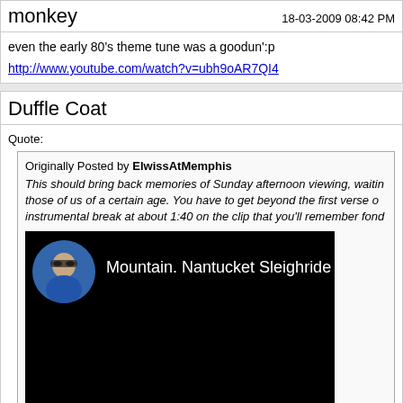monkey
18-03-2009 08:42 PM
even the early 80's theme tune was a goodun':p
http://www.youtube.com/watch?v=ubh9oAR7QI4
Duffle Coat
Quote:
Originally Posted by ElwissAtMemphis
This should bring back memories of Sunday afternoon viewing, waiting those of us of a certain age. You have to get beyond the first verse o instrumental break at about 1:40 on the clip that you'll remember fond
[Figure (screenshot): YouTube video thumbnail showing Mountain. Nantucket Sleighride with a circular avatar of a man in a blue jacket and sunglasses on a black background]